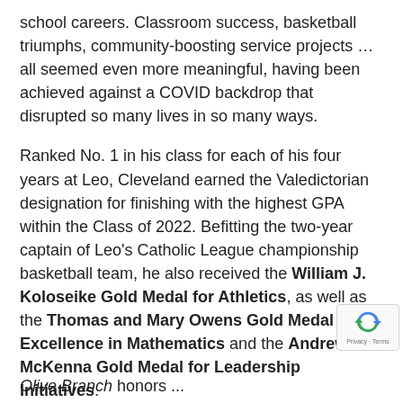school careers. Classroom success, basketball triumphs, community-boosting service projects … all seemed even more meaningful, having been achieved against a COVID backdrop that disrupted so many lives in so many ways.
Ranked No. 1 in his class for each of his four years at Leo, Cleveland earned the Valedictorian designation for finishing with the highest GPA within the Class of 2022. Befitting the two-year captain of Leo's Catholic League championship basketball team, he also received the William J. Koloseike Gold Medal for Athletics, as well as the Thomas and Mary Owens Gold Medal for Excellence in Mathematics and the Andrew J. McKenna Gold Medal for Leadership Initiatives.
Cleveland is headed for Morehouse College in Atlanta on an academic scholarship.